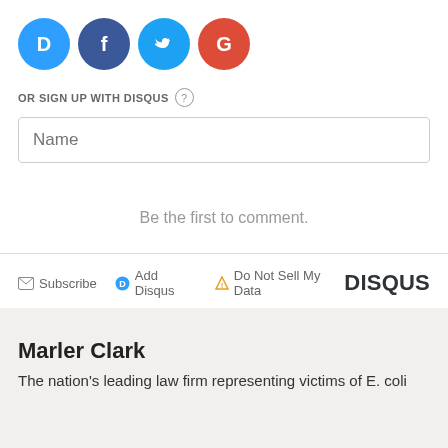[Figure (logo): Social login icons: Disqus (blue), Facebook (dark blue), Twitter (light blue), Google (red)]
OR SIGN UP WITH DISQUS ?
Name
Be the first to comment.
Subscribe  Add Disqus  Do Not Sell My Data  DISQUS
Marler Clark
The nation's leading law firm representing victims of E. coli